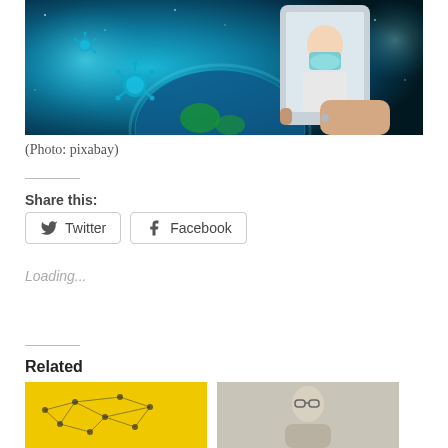[Figure (photo): A composite photo showing a hand holding a smartphone displaying a person wearing a medical mask, set against a cosmic/space background with virus particles and the Earth visible, all in teal/blue tones.]
(Photo: pixabay)
Share this:
Twitter   Facebook
Loading...
Related
[Figure (photo): Related article thumbnail showing a network/mesh graphic on a yellow background.]
[Figure (photo): Related article thumbnail showing an elderly person with glasses.]